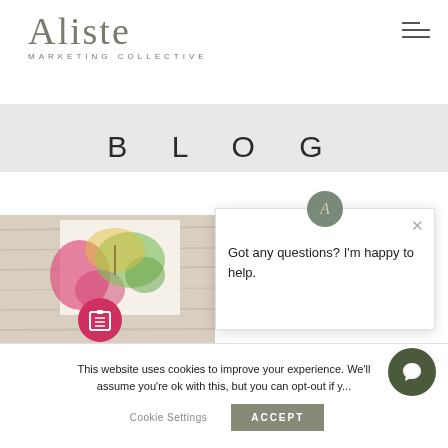[Figure (logo): Aliste Marketing Collective logo - serif text with tracking]
BLOG
[Figure (photo): Blog post thumbnail image with colorful watercolor art and a pink circle icon overlay]
Got any questions? I'm happy to help.
This website uses cookies to improve your experience. We'll assume you're ok with this, but you can opt-out if y...
Cookie Settings
ACCEPT